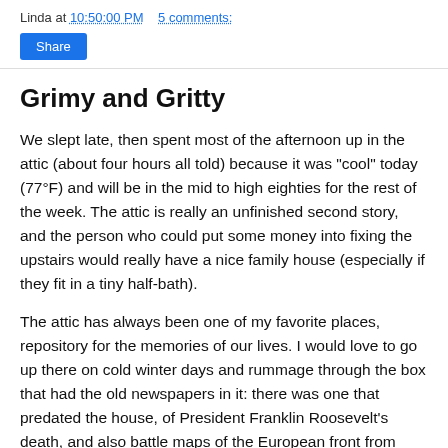Linda at 10:50:00 PM   5 comments:
[Figure (other): Share button (blue rectangle with white text 'Share')]
Grimy and Gritty
We slept late, then spent most of the afternoon up in the attic (about four hours all told) because it was "cool" today (77°F) and will be in the mid to high eighties for the rest of the week. The attic is really an unfinished second story, and the person who could put some money into fixing the upstairs would really have a nice family house (especially if they fit in a tiny half-bath).
The attic has always been one of my favorite places, repository for the memories of our lives. I would love to go up there on cold winter days and rummage through the box that had the old newspapers in it: there was one that predated the house, of President Franklin Roosevelt's death, and also battle maps of the European front from about three months' worth of 1944 Providence Journals, but my favorite